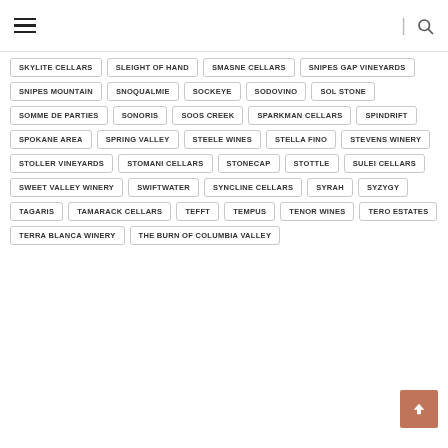Navigation header with hamburger menu and search icon
SKYLITE CELLARS
SLEIGHT OF HAND
SMASNE CELLARS
SNIPES GAP VINEYARDS
SNIPES MOUNTAIN
SNOQUALMIE
SOCKEYE
SODOVINO
SOL STONE
SOMME DE PARTIES
SONORIS
SOOS CREEK
SPARKMAN CELLARS
SPINDRIFT
SPOKANE AREA
SPRING VALLEY
STEELE WINES
STELLA FINO
STEVENS WINERY
STOLLER VINEYARDS
STOMANI CELLARS
STONECAP
STOTTLE
SULEI CELLARS
SWEET VALLEY WINERY
SWIFTWATER
SYNCLINE CELLARS
SYRAH
SYZYGY
TAGARIS
TAMARACK CELLARS
TEFFT
TEMPUS
TENOR WINES
TERO ESTATES
TERRA BLANCA WINERY
THE BURN OF COLUMBIA VALLEY